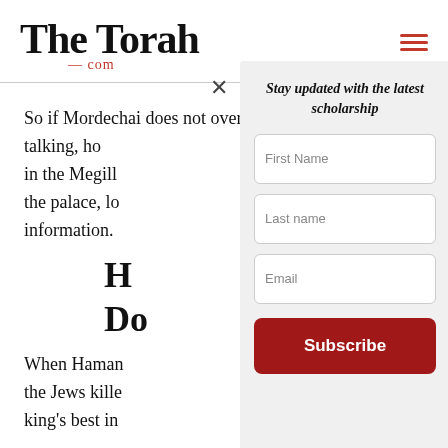The Torah .com
So if Mordechai does not overhear the conspirators talking, ho[w does he learn about the plot? Mordechai sat] in the Megill[ah…] the palace, lo[cated near the gate, and overheard crucial] information.
Ha[man's] Do[wnfall]
When Haman[…] the Jews kille[d…] king's best in[terests…]
[Figure (other): Newsletter subscription modal popup with fields: First Name, Last name, Email, and a Subscribe button. Title reads 'Stay updated with the latest scholarship'. Has a close (X) button.]